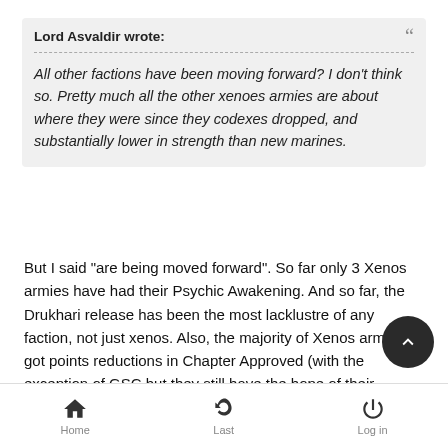Lord Asvaldir wrote:
All other factions have been moving forward? I don't think so. Pretty much all the other xenoes armies are about where they were since they codexes dropped, and substantially lower in strength than new marines.
But I said "are being moved forward". So far only 3 Xenos armies have had their Psychic Awakening. And so far, the Drukhari release has been the most lacklustre of any faction, not just xenos. Also, the majority of Xenos armies got points reductions in Chapter Approved (with the exception of GSC but they still have the hope of their Psychic Awakening book). Any points drops we got were offset by increases to core units with no real alternatives to them in our codex.
I'm not saying we're trash tier, I'm also not comparing us to Space Marines which are clearly stupidly OP. But we have
Home  Last  Log in